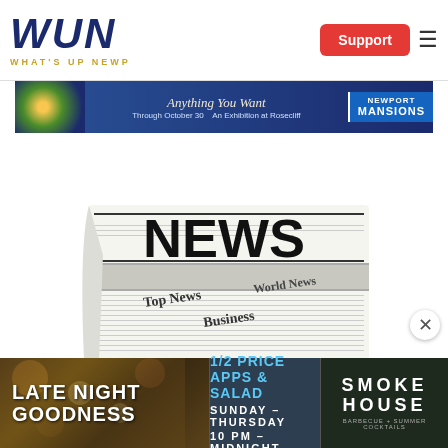[Figure (logo): WUN - What's Up Newp logo with dark blue block letters and gold tagline]
[Figure (other): Support button (red) and hamburger menu icon in header]
[Figure (other): Advertisement banner: Anything You Want - Through October 30 - An Exhibition at Rosecliff - Newport Mansions]
[Figure (photo): Stack of newspapers with NEWS headline, Top News, World News, Business labels visible]
[Figure (other): Bottom advertisement: Late Night Goodness - 1/2 Price Apps & Salad Sunday-Thursday 10PM-Midnight - Smokehouse BBQ + Summer Cocktails]